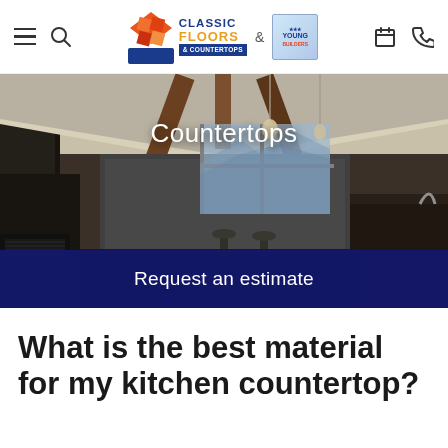Classic Floors & Countertops — Navigation header with hamburger menu, search, logo, calendar, and phone icons
[Figure (screenshot): Hero image of a modern kitchen with dark countertops, white cabinetry, vaulted ceiling with exposed wooden beams, pendant lights, and a mountain view through large windows. Overlaid with the text 'Countertops' and a dark blue 'Request an estimate' banner.]
Countertops
Request an estimate
What is the best material for my kitchen countertop?